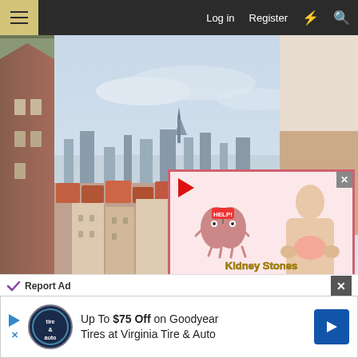Log in  Register
[Figure (photo): City panorama photo showing European old town with red-tiled rooftops, gothic spires, and historic buildings (Prague cityscape) framed by building facades on left and right sides. An overlaid video thumbnail shows a kidney stones symptoms advertisement with cartoon kidneys saying HELP! and a person holding their lower back.]
Report Ad
Up To $75 Off on Goodyear Tires at Virginia Tire & Auto